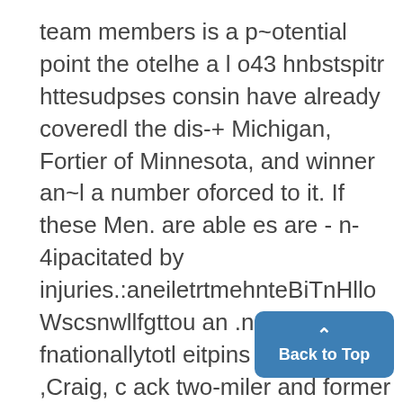team members is a p~otential point the otelhe a l o43 hnbstspitr httesudpses consin have already coveredl the dis-+ Michigan, Fortier of Minnesota, and winner an~l a number oforced to it. If these Men. are able es are - n-4ipacitated by injuries.:aneiletrtmehnteBiTnHllo Wscsnwllfgttou an .nme fnationallytotl eitpins r so in the ,Craig, c ack two-miler and former known tars ill beworkig for t ak et it a omen tts rac il t tain of the cross cour record, wile Northwestern brok ptefpvdy Dr
Back to Top